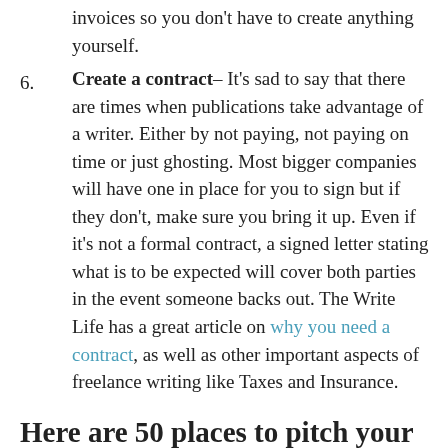invoices so you don't have to create anything yourself.
Create a contract– It's sad to say that there are times when publications take advantage of a writer. Either by not paying, not paying on time or just ghosting. Most bigger companies will have one in place for you to sign but if they don't, make sure you bring it up. Even if it's not a formal contract, a signed letter stating what is to be expected will cover both parties in the event someone backs out. The Write Life has a great article on why you need a contract, as well as other important aspects of freelance writing like Taxes and Insurance.
Here are 50 places to pitch your travel writing, now!